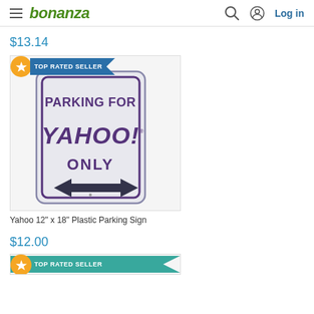bonanza — Log in
$13.14
[Figure (photo): A white plastic parking sign reading 'PARKING FOR YAHOO! ONLY' with a double-headed arrow, shown with a TOP RATED SELLER badge in the upper left corner.]
Yahoo 12" x 18" Plastic Parking Sign
$12.00
[Figure (photo): Second product listing partially visible at the bottom with TOP RATED SELLER badge.]